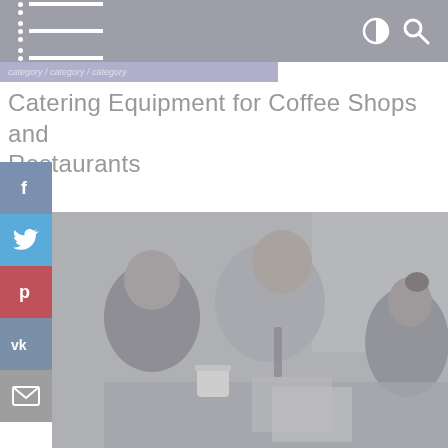Navigation bar with hamburger menu, contrast toggle, and search icon
Catering Equipment for Coffee Shops and Restaurants
[Figure (photo): Three business people in suits (two men and one woman) looking at documents at a table, with one man holding a white coffee cup. Photo has a grayish/desaturated overlay tone.]
[Figure (infographic): Social media sharing sidebar buttons: Facebook (f), Twitter bird, Pinterest (P), VKontakte (VK), Email (envelope icon)]